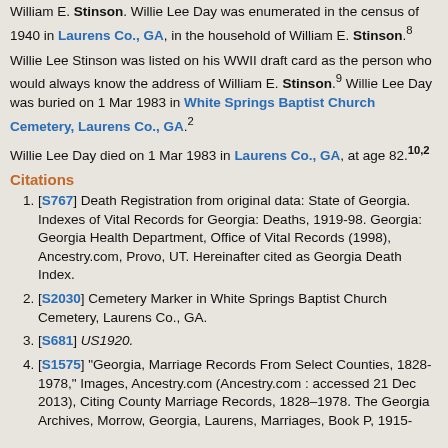William E. Stinson. Willie Lee Day was enumerated in the census of 1940 in Laurens Co., GA, in the household of William E. Stinson.8
Willie Lee Stinson was listed on his WWII draft card as the person who would always know the address of William E. Stinson.9 Willie Lee Day was buried on 1 Mar 1983 in White Springs Baptist Church Cemetery, Laurens Co., GA.2
Willie Lee Day died on 1 Mar 1983 in Laurens Co., GA, at age 82.10,2
Citations
[S767] Death Registration from original data: State of Georgia. Indexes of Vital Records for Georgia: Deaths, 1919-98. Georgia: Georgia Health Department, Office of Vital Records (1998), Ancestry.com, Provo, UT. Hereinafter cited as Georgia Death Index.
[S2030] Cemetery Marker in White Springs Baptist Church Cemetery, Laurens Co., GA.
[S681] US1920.
[S1575] "Georgia, Marriage Records From Select Counties, 1828-1978," Images, Ancestry.com (Ancestry.com : accessed 21 Dec 2013), Citing County Marriage Records, 1828–1978. The Georgia Archives, Morrow, Georgia, Laurens, Marriages, Book P, 1915-